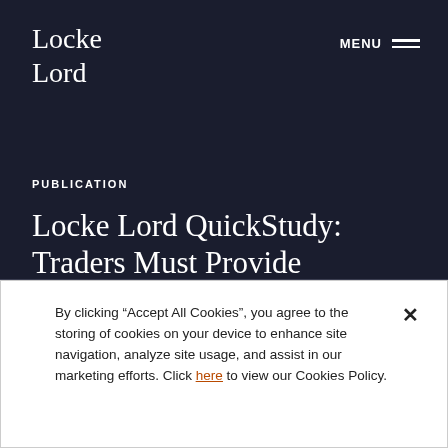Locke Lord
PUBLICATION
Locke Lord QuickStudy: Traders Must Provide Information to Consumers About Alternative Dispute Resolution
By clicking “Accept All Cookies”, you agree to the storing of cookies on your device to enhance site navigation, analyze site usage, and assist in our marketing efforts. Click here to view our Cookies Policy.